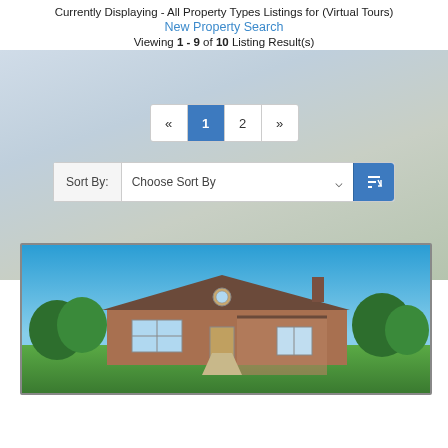Currently Displaying - All Property Types Listings for (Virtual Tours)
New Property Search
Viewing 1 - 9 of 10 Listing Result(s)
« 1 2 »
Sort By: Choose Sort By
Top Listings
[Figure (photo): Exterior photo of a single-story brick ranch home with large front lawn, covered porch, and blue sky background]